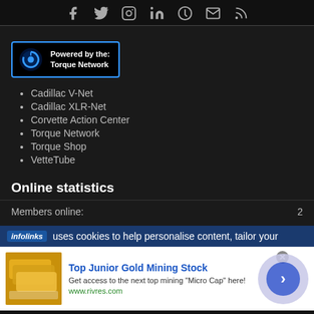[Figure (other): Social media icons row: Facebook, Twitter, Instagram, LinkedIn, Pinterest, Mail, RSS]
[Figure (logo): Powered by the Torque Network badge with blue power button icon]
Cadillac V-Net
Cadillac XLR-Net
Corvette Action Center
Torque Network
Torque Shop
VetteTube
Online statistics
Members online: 2
infolinks uses cookies to help personalise content, tailor your
[Figure (other): Advertisement for Top Junior Gold Mining Stock from www.rivres.com with gold bars image and arrow button]